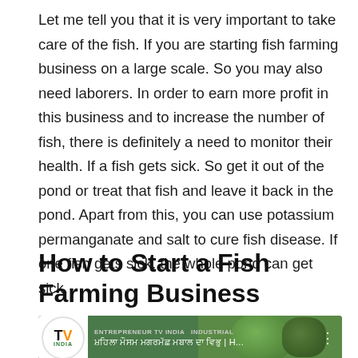Let me tell you that it is very important to take care of the fish. If you are starting fish farming business on a large scale. So you may also need laborers. In order to earn more profit in this business and to increase the number of fish, there is definitely a need to monitor their health. If a fish gets sick. So get it out of the pond or treat that fish and leave it back in the pond. Apart from this, you can use potassium permanganate and salt to cure fish disease. If one fish gets sick, the whole pond can get sick.
How to Start a Fish Farming Business
[Figure (screenshot): Video thumbnail showing Entrepreneur TV India channel logo with orange and black TV letters on white circle, green background with circular fish pond shapes, and Hindi text with 'H...' visible]